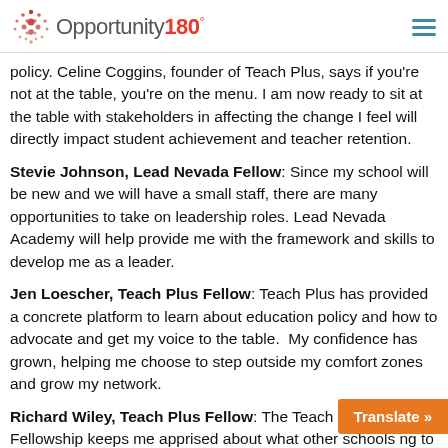Opportunity 180°
policy. Celine Coggins, founder of Teach Plus, says if you're not at the table, you're on the menu. I am now ready to sit at the table with stakeholders in affecting the change I feel will directly impact student achievement and teacher retention.
Stevie Johnson, Lead Nevada Fellow: Since my school will be new and we will have a small staff, there are many opportunities to take on leadership roles. Lead Nevada Academy will help provide me with the framework and skills to develop me as a leader.
Jen Loescher, Teach Plus Fellow: Teach Plus has provided a concrete platform to learn about education policy and how to advocate and get my voice to the table.  My confidence has grown, helping me choose to step outside my comfort zones and grow my network.
Richard Wiley, Teach Plus Fellow: The Teach Plus Fellowship keeps me apprised about what other schools [are doing] to continually improve, and provides a vehicle